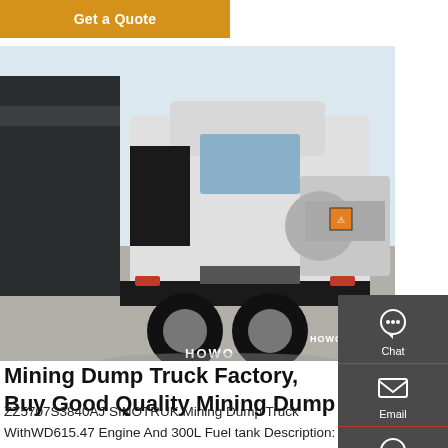Get a Quote
[Figure (photo): Rear view of a white HOWO SINOTRUK mining dump truck parked in an industrial yard, with tanker trucks visible in the background.]
Mining Dump Truck Factory, Buy Good Quality Mining Dump
ZZ5707S3840AJ SINOTRUK Mining Dump Truck
WithWD615.47 Engine And 300L Fuel tank Description: